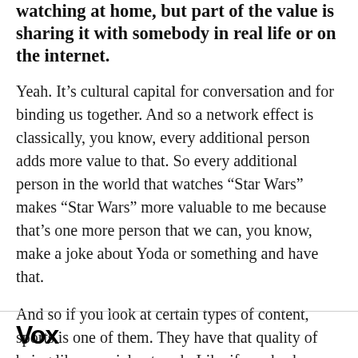watching at home, but part of the value is sharing it with somebody in real life or on the internet.
Yeah. It’s cultural capital for conversation and for binding us together. And so a network effect is classically, you know, every additional person adds more value to that. So every additional person in the world that watches “Star Wars” makes “Star Wars” more valuable to me because that’s one more person that we can, you know, make a joke about Yoda or something and have that.
And so if you look at certain types of content, sports is one of them. They have that quality of being like a social network. Like if you broke down the
Vox